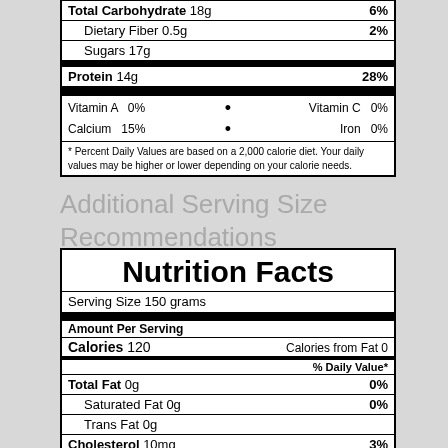| Nutrient | Amount | % DV |
| --- | --- | --- |
| Total Carbohydrate | 18g | 6% |
| Dietary Fiber | 0.5g | 2% |
| Sugars | 17g |  |
| Protein | 14g | 28% |
| Vitamin A  0% |  | Vitamin C  0% |
| Calcium  15% |  | Iron  0% |
| * Percent Daily Values are based on a 2,000 calorie diet. Your daily values may be higher or lower depending on your calorie needs. |  |  |
Additional Serving Size Recommendations
| Nutrient | Amount | % DV |
| --- | --- | --- |
| Nutrition Facts |  |  |
| Serving Size 150 grams |  |  |
| Amount Per Serving |  |  |
| Calories 120 | Calories from Fat 0 |  |
| % Daily Value* |  |  |
| Total Fat 0g |  | 0% |
| Saturated Fat 0g |  | 0% |
| Trans Fat 0g |  |  |
| Cholesterol 10mg |  | 3% |
| Sodium 55mg |  | 2% |
| Potassium 0mg |  | 0% |